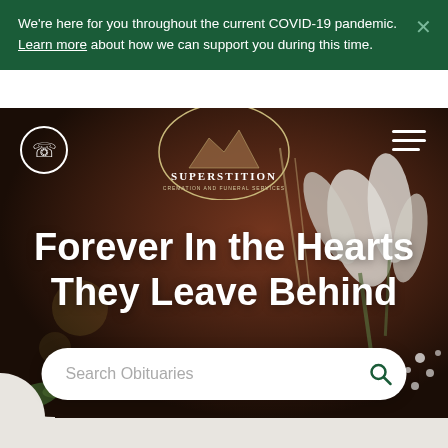We're here for you throughout the current COVID-19 pandemic. Learn more about how we can support you during this time.
[Figure (screenshot): Superstition Cremation and Funeral Services website hero section with floral background image showing white flowers, a phone icon circle, hamburger menu, logo circle with mountain silhouette, large white headline text, and obituary search bar]
Forever In the Hearts They Leave Behind